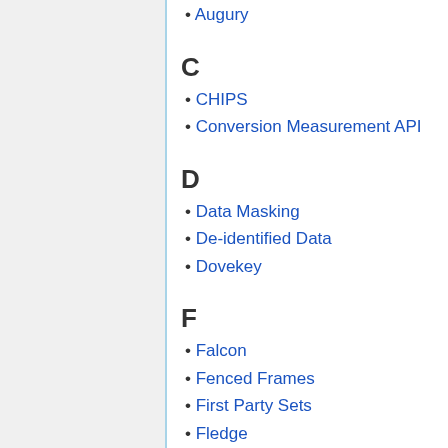Augury
C
CHIPS
Conversion Measurement API
D
Data Masking
De-identified Data
Dovekey
F
Falcon
Fenced Frames
First Party Sets
Fledge
FLoC
G
Gnatcatcher